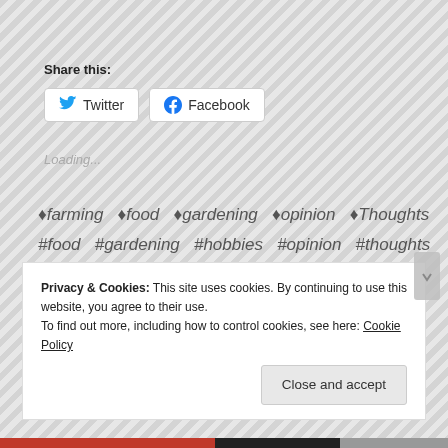Share this:
Twitter  Facebook
Loading...
♦farming  ♦food  ♦gardening  ♦opinion  ♦Thoughts  #food  #gardening  #hobbies  #opinion  #thoughts
LEAVE A COMMENT
Privacy & Cookies: This site uses cookies. By continuing to use this website, you agree to their use.
To find out more, including how to control cookies, see here: Cookie Policy
Close and accept